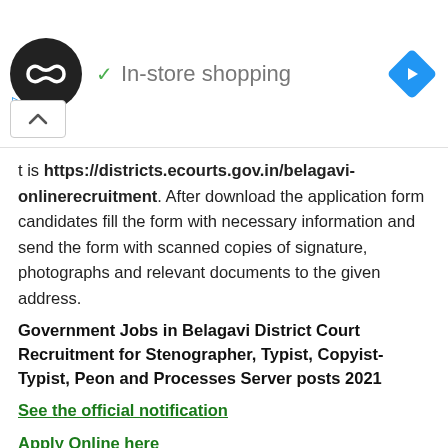[Figure (screenshot): Ad banner showing a black circle logo with infinity-like symbol, a green checkmark with 'In-store shopping' text, and a blue diamond navigation icon on the right. Below are small blue play and X control icons and a white box with up arrow.]
t is https://districts.ecourts.gov.in/belagavi-onlinerecruitment. After download the application form candidates fill the form with necessary information and send the form with scanned copies of signature, photographs and relevant documents to the given address.
Government Jobs in Belagavi District Court Recruitment for Stenographer, Typist, Copyist-Typist, Peon and Processes Server posts 2021
See the official notification
Apply Online here
https://districts.ecourts.gov.in/belagavi-onlinerecruitment